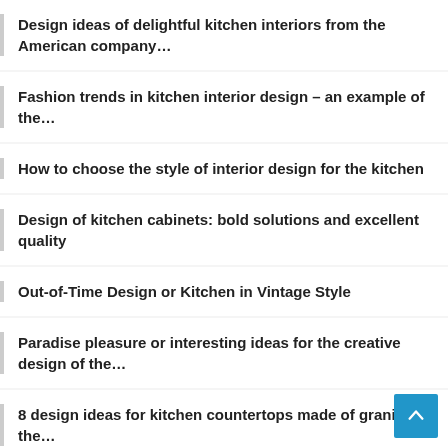Design ideas of delightful kitchen interiors from the American company…
Fashion trends in kitchen interior design – an example of the…
How to choose the style of interior design for the kitchen
Design of kitchen cabinets: bold solutions and excellent quality
Out-of-Time Design or Kitchen in Vintage Style
Paradise pleasure or interesting ideas for the creative design of the…
8 design ideas for kitchen countertops made of granite – the…